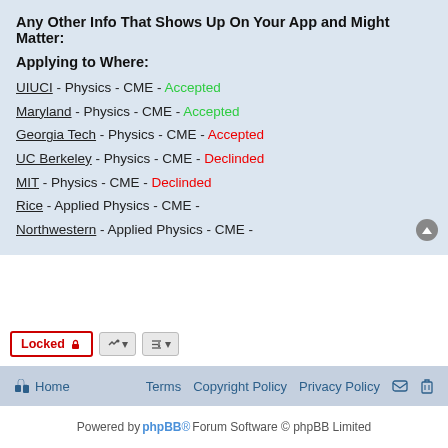Any Other Info That Shows Up On Your App and Might Matter:
Applying to Where:
UIUCI - Physics - CME - Accepted
Maryland - Physics - CME - Accepted
Georgia Tech - Physics - CME - Accepted
UC Berkeley - Physics - CME - Declinded
MIT - Physics - CME - Declinded
Rice - Applied Physics - CME -
Northwestern - Applied Physics - CME -
Powered by phpBB® Forum Software © phpBB Limited